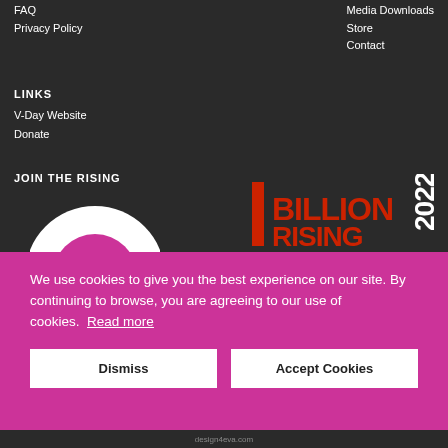FAQ
Privacy Policy
Media Downloads
Store
Contact
LINKS
V-Day Website
Donate
JOIN THE RISING
[Figure (illustration): Partial white circle with pink/magenta center element, avatar placeholder graphic]
[Figure (logo): 1 Billion Rising 2022 logo in red and white bold text on dark background]
We use cookies to give you the best experience on our site. By continuing to browse, you are agreeing to our use of cookies. Read more
Dismiss
Accept Cookies
design4eva.com